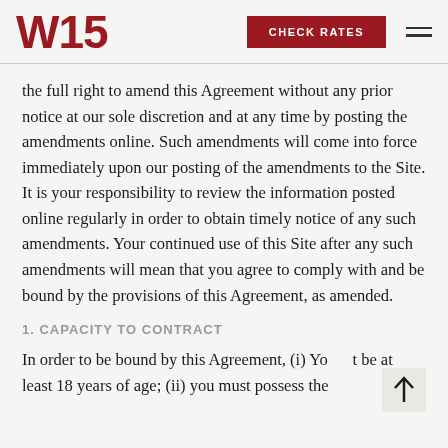W15 | CHECK RATES
the full right to amend this Agreement without any prior notice at our sole discretion and at any time by posting the amendments online. Such amendments will come into force immediately upon our posting of the amendments to the Site. It is your responsibility to review the information posted online regularly in order to obtain timely notice of any such amendments. Your continued use of this Site after any such amendments will mean that you agree to comply with and be bound by the provisions of this Agreement, as amended.
1. CAPACITY TO CONTRACT
In order to be bound by this Agreement, (i) Yo t be at least 18 years of age; (ii) you must possess the